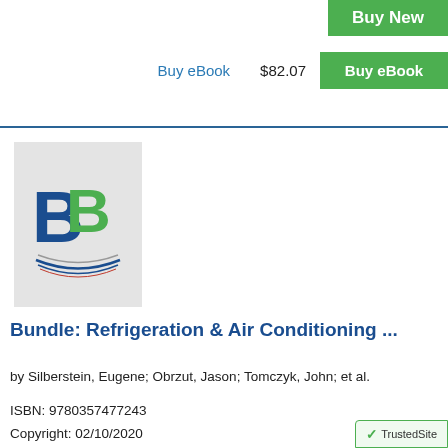Buy eBook   $82.07
Buy New
Buy eBook
[Figure (logo): BiggerBooks (BB) logo — two overlapping letter Bs in blue and green above stylized book pages]
Bundle: Refrigeration & Air Conditioning ...
by Silberstein, Eugene; Obrzut, Jason; Tomczyk, John; et al.
ISBN: 9780357477243
Copyright: 02/10/2020
Display
[Figure (logo): TrustedSite badge (partial)]